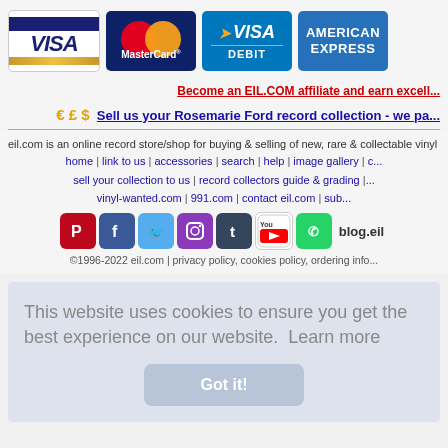[Figure (logo): Payment method icons: Visa, MasterCard, Visa Debit, American Express]
Become an EIL.COM affiliate and earn excell...
€ £ $ Sell us your Rosemarie Ford record collection - we pa...
eil.com is an online record store/shop for buying & selling of new, rare & collectable vinyl rec...
home | link to us | accessories | search | help | image gallery | c...
sell your collection to us | record collectors guide & grading |...
vinyl-wanted.com | 991.com | contact eil.com | sub...
[Figure (logo): Social media icons: Pinterest, Facebook, Twitter, Instagram, Tumblr, YouTube, WhatsApp, blog.eil]
©1996-2022 eil.com | privacy policy, cookies policy, ordering info...
This website uses cookies to ensure you get the best experience on our website. Learn more
Got it!